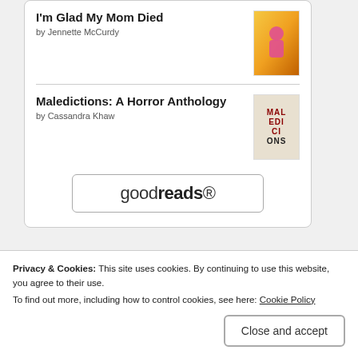I'm Glad My Mom Died by Jennette McCurdy
Maledictions: A Horror Anthology by Cassandra Khaw
[Figure (logo): goodreads logo button with rounded rectangle border]
Follow me on Twitter
Tweets from
Been quiet lately, just
Privacy & Cookies: This site uses cookies. By continuing to use this website, you agree to their use. To find out more, including how to control cookies, see here: Cookie Policy
Close and accept